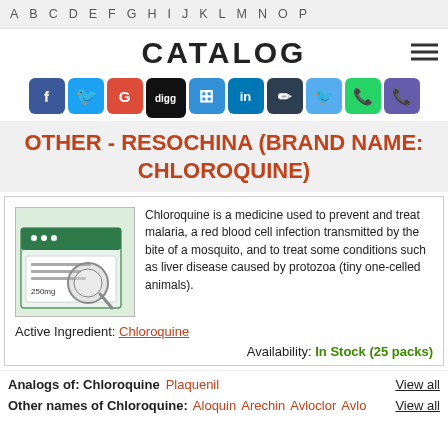A B C D E F G H I J K L M N O P
CATALOG
[Figure (infographic): Social sharing icons: Facebook, Twitter, Google+, Digg, Delicious, LinkedIn, Pen/Edit, Twitter bird, WhatsApp, Viber]
OTHER - RESOCHINA (BRAND NAME: CHLOROQUINE)
[Figure (photo): Photo of Chloroquine Hydrochloride Tablets BP 250mg box with magnifying glass overlay]
Chloroquine is a medicine used to prevent and treat malaria, a red blood cell infection transmitted by the bite of a mosquito, and to treat some conditions such as liver disease caused by protozoa (tiny one-celled animals).
Active Ingredient: Chloroquine
Availability: In Stock (25 packs)
Analogs of: Chloroquine   Plaquenil   View all
Other names of Chloroquine:   Aloquin  Arechin  Avloclor  Avlo  View all